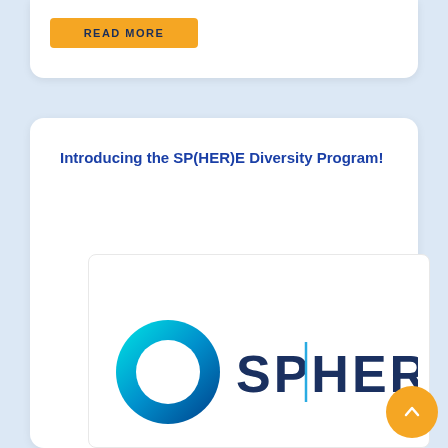READ MORE
Introducing the SP(HER)E Diversity Program!
[Figure (logo): SPHERE logo: a circular gradient ring in cyan-to-blue colors on the left, and the text 'SPHERE' in dark blue sans-serif with a vertical bar accent inside the letter H on the right]